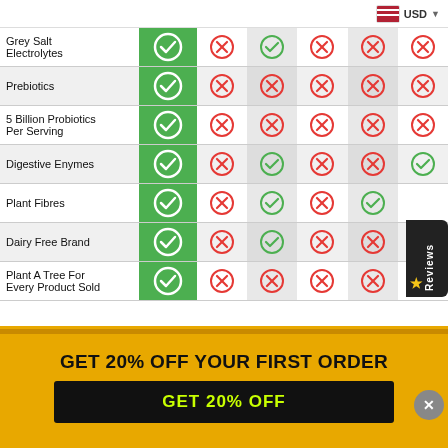USD
| Feature | Our Product | Competitor 1 | Competitor 2 | Competitor 3 | Competitor 4 | Competitor 5 |
| --- | --- | --- | --- | --- | --- | --- |
| Grey Salt Electrolytes | ✓ | ✗ | ✓ | ✗ | ✗ | ✗ |
| Prebiotics | ✓ | ✗ | ✗ | ✗ | ✗ | ✗ |
| 5 Billion Probiotics Per Serving | ✓ | ✗ | ✗ | ✗ | ✗ | ✗ |
| Digestive Enymes | ✓ | ✗ | ✓ | ✗ | ✗ | ✓ |
| Plant Fibres | ✓ | ✗ | ✓ | ✗ | ✓ | ✗ |
| Dairy Free Brand | ✓ | ✗ | ✓ | ✗ | ✗ | ✗ |
| Plant A Tree For Every Product Sold | ✓ | ✗ | ✗ | ✗ | ✗ | ✗ |
GET 20% OFF YOUR FIRST ORDER
GET 20% OFF